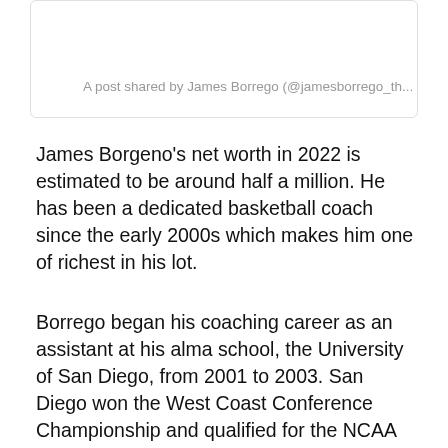[Figure (screenshot): Social media post embed box with caption text: A post shared by James Borrego (@jamesborrego_th...]
James Borgeno's net worth in 2022 is estimated to be around half a million. He has been a dedicated basketball coach since the early 2000s which makes him one of richest in his lot.
Borrego began his coaching career as an assistant at his alma school, the University of San Diego, from 2001 to 2003. San Diego won the West Coast Conference Championship and qualified for the NCAA Tournament in the 2002–2003 season (cut off)